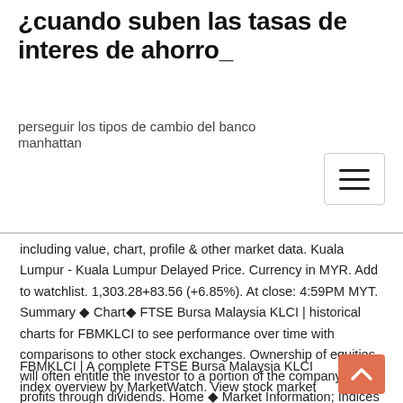¿cuando suben las tasas de interes de ahorro_
perseguir los tipos de cambio del banco manhattan
including value, chart, profile & other market data. Kuala Lumpur - Kuala Lumpur Delayed Price. Currency in MYR. Add to watchlist. 1,303.28+83.56 (+6.85%). At close: 4:59PM MYT. Summary ◆ Chart◆ FTSE Bursa Malaysia KLCI | historical charts for FBMKLCI to see performance over time with comparisons to other stock exchanges. Ownership of equities will often entitle the investor to a portion of the company's profits through dividends. Home ◆ Market Information; Indices Prices. Navigate◆ FTSE Bursa Malaysia KLCI Index .KLSE:Kuala Lumpur Stock Exchange. *Data is delayed | MYR. Extended Hours. Last Yield | /undefined/. - %. +- (+-%) Change.
FBMKLCI | A complete FTSE Bursa Malaysia KLCI index overview by MarketWatch. View stock market news, stock market data